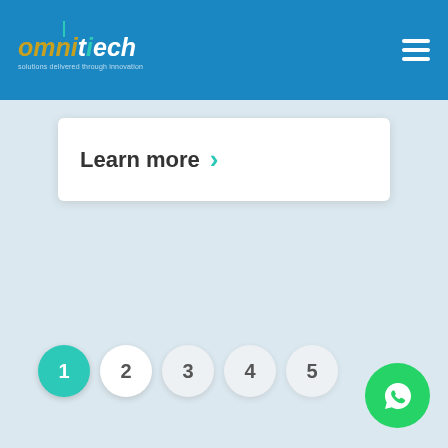omnitech - solutions delivered through innovation
Learn more >
1
2
3
4
5
[Figure (logo): WhatsApp contact button - green circle with phone handset icon]